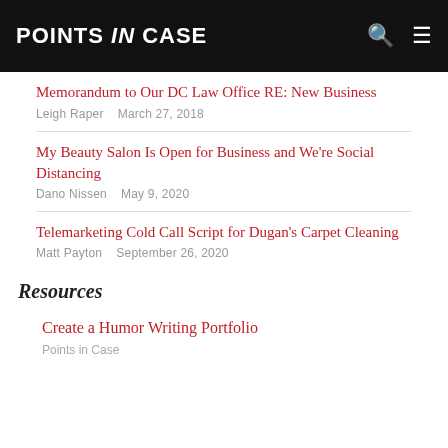POINTS IN CASE
Memorandum to Our DC Law Office RE: New Business
Leigh Raper   March 27, 2018
My Beauty Salon Is Open for Business and We're Social Distancing
Dano Nissen   May 9, 2020
Telemarketing Cold Call Script for Dugan's Carpet Cleaning
Matt Payton   September 26, 2020
Resources
Create a Humor Writing Portfolio
Points in Case